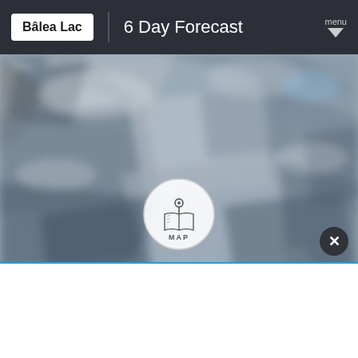Bâlea Lac
6 Day Forecast
[Figure (map): Blurred aerial/satellite terrain map of Bâlea Lac mountain area with a central circular MAP icon overlay]
MAP